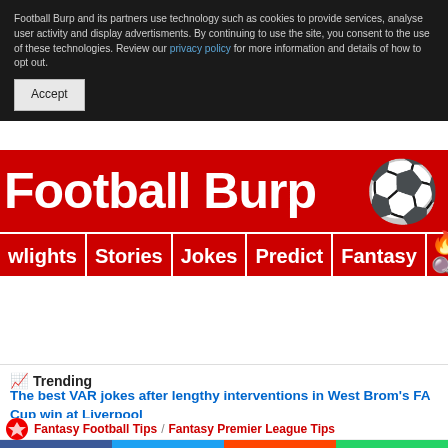Football Burp and its partners use technology such as cookies to provide services, analyse user activity and display advertisments. By continuing to use the site, you consent to the use of these technologies. Review our privacy policy for more information and details of how to opt out.
Accept
Football Burp 🏈
wlights | Stories | Jokes | Predict | Fantasy 🔥🔍
📈 Trending
The best VAR jokes after lengthy interventions in West Brom's FA Cup win at Liverpool
Fantasy Football Tips / Fantasy Premier League Tips